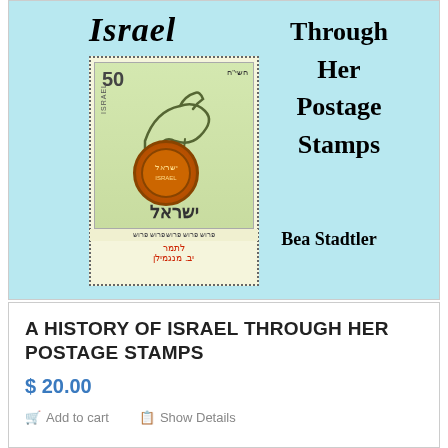[Figure (illustration): Book cover showing a postage stamp from Israel (50 denomination, featuring a stylized animal and circular seal) on a light blue background. Title text reads 'Israel Through Her Postage Stamps' with author 'Bea Stadtler'.]
A HISTORY OF ISRAEL THROUGH HER POSTAGE STAMPS
$ 20.00
Add to cart
Show Details